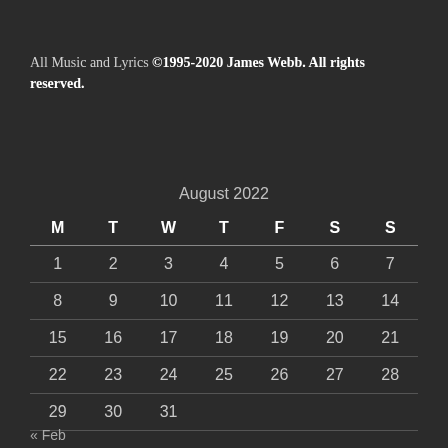All Music and Lyrics © 1995-2020 James Webb. All rights reserved.
| M | T | W | T | F | S | S |
| --- | --- | --- | --- | --- | --- | --- |
| 1 | 2 | 3 | 4 | 5 | 6 | 7 |
| 8 | 9 | 10 | 11 | 12 | 13 | 14 |
| 15 | 16 | 17 | 18 | 19 | 20 | 21 |
| 22 | 23 | 24 | 25 | 26 | 27 | 28 |
| 29 | 30 | 31 |  |  |  |  |
« Feb